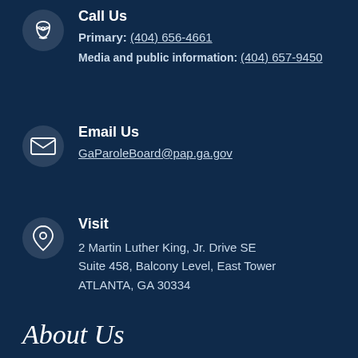Call Us
Primary: (404) 656-4661
Media and public information: (404) 657-9450
Email Us
GaParoleBoard@pap.ga.gov
Visit
2 Martin Luther King, Jr. Drive SE
Suite 458, Balcony Level, East Tower
ATLANTA, GA 30334
About Us